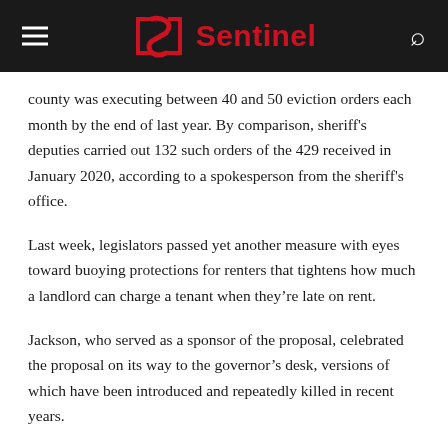Sentinel
county was executing between 40 and 50 eviction orders each month by the end of last year. By comparison, sheriff's deputies carried out 132 such orders of the 429 received in January 2020, according to a spokesperson from the sheriff's office.
Last week, legislators passed yet another measure with eyes toward buoying protections for renters that tightens how much a landlord can charge a tenant when they're late on rent.
Jackson, who served as a sponsor of the proposal, celebrated the proposal on its way to the governor's desk, versions of which have been introduced and repeatedly killed in recent years.
“Sometimes it takes a long time for good policy to make its way through, but we do not give up,” she said. “ … This was a really